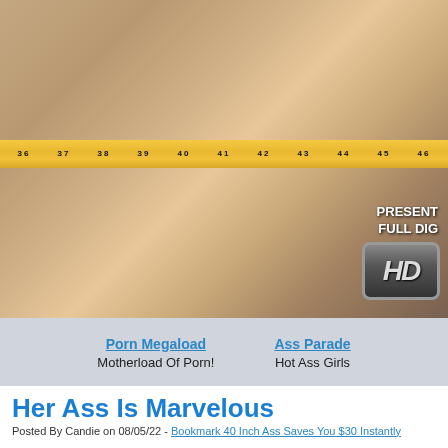[Figure (photo): A woman lying on a bed with a yellow measuring tape wrapped around her, shown from behind. An HD badge and 'PRESENTED IN FULL DIG' text overlay appear in the lower right.]
Porn Megaload
Motherload Of Porn!
Ass Parade
Hot Ass Girls
Her Ass Is Marvelous
Posted By Candie on 08/05/22 - Bookmark 40 Inch Ass Saves You $30 Instantly